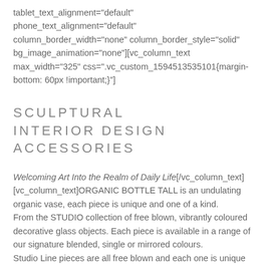tablet_text_alignment="default" phone_text_alignment="default" column_border_width="none" column_border_style="solid" bg_image_animation="none"][vc_column_text max_width="325" css=".vc_custom_1594513535101{margin-bottom: 60px !important;}"]
SCULPTURAL INTERIOR DESIGN ACCESSORIES
Welcoming Art Into the Realm of Daily Life[/vc_column_text][vc_column_text]ORGANIC BOTTLE TALL is an undulating organic vase, each piece is unique and one of a kind.
From the STUDIO collection of free blown, vibrantly coloured decorative glass objects. Each piece is available in a range of our signature blended, single or mirrored colours. Studio Line pieces are all free blown and each one is unique